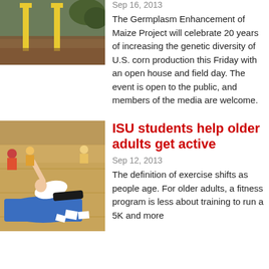[Figure (photo): Outdoor photo showing yellow equipment posts and ground with dirt/mulch]
Sep 16, 2013
The Germplasm Enhancement of Maize Project will celebrate 20 years of increasing the genetic diversity of U.S. corn production this Friday with an open house and field day. The event is open to the public, and members of the media are welcome.
[Figure (photo): Indoor gymnasium scene with a person doing a side plank exercise on a blue mat, other participants visible in background]
ISU students help older adults get active
Sep 12, 2013
The definition of exercise shifts as people age. For older adults, a fitness program is less about training to run a 5K and more